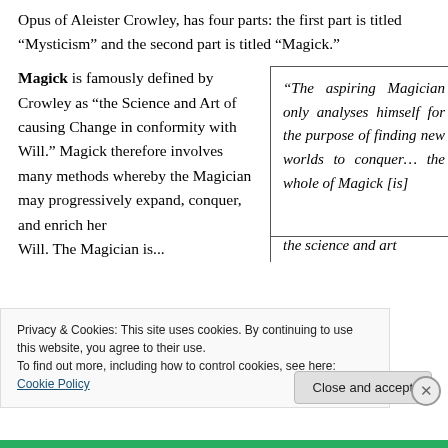Opus of Aleister Crowley, has four parts: the first part is titled “Mysticism” and the second part is titled “Magick.”
Magick is famously defined by Crowley as “the Science and Art of causing Change in conformity with Will.” Magick therefore involves many methods whereby the Magician may progressively expand, conquer, and enrich her Will. The Magician is...
“The aspiring Magician only analyses himself for the purpose of finding new worlds to conquer… the whole of Magick [is] the science and art
Privacy & Cookies: This site uses cookies. By continuing to use this website, you agree to their use.
To find out more, including how to control cookies, see here: Cookie Policy